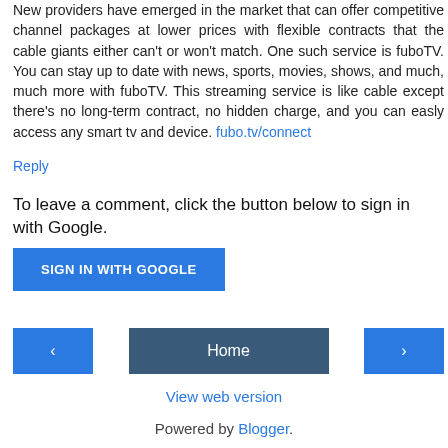New providers have emerged in the market that can offer competitive channel packages at lower prices with flexible contracts that the cable giants either can't or won't match. One such service is fuboTV. You can stay up to date with news, sports, movies, shows, and much, much more with fuboTV. This streaming service is like cable except there's no long-term contract, no hidden charge, and you can easly access any smart tv and device. fubo.tv/connect
Reply
To leave a comment, click the button below to sign in with Google.
SIGN IN WITH GOOGLE
‹
Home
›
View web version
Powered by Blogger.